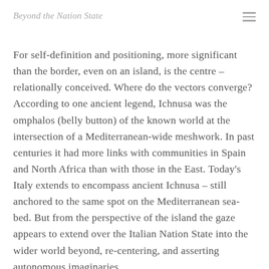Beyond the Nation State
For self-definition and positioning, more significant than the border, even on an island, is the centre – relationally conceived. Where do the vectors converge? According to one ancient legend, Ichnusa was the omphalos (belly button) of the known world at the intersection of a Mediterranean-wide meshwork. In past centuries it had more links with communities in Spain and North Africa than with those in the East. Today's Italy extends to encompass ancient Ichnusa – still anchored to the same spot on the Mediterranean sea-bed. But from the perspective of the island the gaze appears to extend over the Italian Nation State into the wider world beyond, re-centering, and asserting autonomous imaginaries.